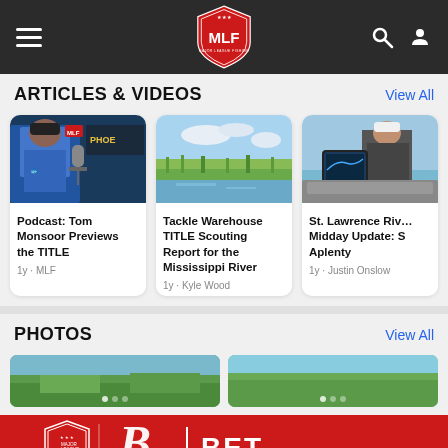MLF Major League Fishing navigation bar
ARTICLES & VIDEOS
[Figure (photo): Man in blue fishing jersey at a microphone with Phoenix logo in background]
Podcast: Tom Monsoor Previews the TITLE
1y • MLF
[Figure (photo): Aerial view of green marsh and river under blue sky with clouds]
Tackle Warehouse TITLE Scouting Report for the Mississippi River
1y • Kyle Wood
[Figure (photo): Angler on boat with fishing electronics on water]
St. Lawrence River Midday Update: S Aplenty
1y • Justin Onslow
PHOTOS
[Figure (photo): Outdoor fishing photo thumbnails row]
[Figure (photo): Advertisement banner: Major League Fishing BET]
View All